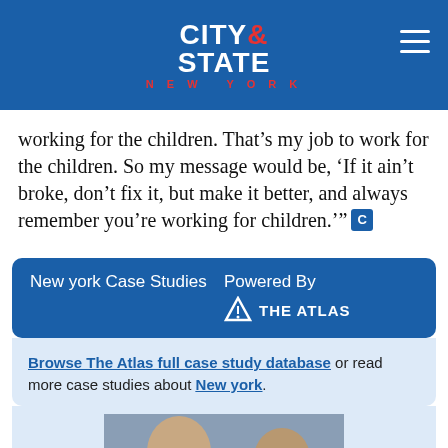CITY & STATE NEW YORK
working for the children. That's my job to work for the children. So my message would be, 'If it ain't broke, don't fix it, but make it better, and always remember you're working for children.'’”
New york Case Studies   Powered By   THE ATLAS
Browse The Atlas full case study database or read more case studies about New york.
[Figure (photo): Two men in conversation, one older man in a suit speaking with another person]